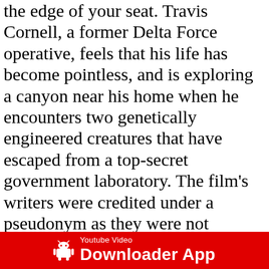the edge of your seat. Travis Cornell, a former Delta Force operative, feels that his life has become pointless, and is exploring a canyon near his home when he encounters two genetically engineered creatures that have escaped from a top-secret government laboratory. The film's writers were credited under a pseudonym as they were not members of the Writers Guild at the time. The film was released on a DVD by New Concorde Home Entertainment in 2003. Both are on the loose... Bestselling author Dean Koontz presents his most terrifying, dramatic and moving novel: The explosive story of a man...From a top secret government laboratory come two genetically altered life forms. Dean Koontz has written some really good books. This caused me to come out of the store and go back and check to
[Figure (other): Red banner at the bottom with Android robot icon, text 'Youtube Video' above 'Downloader App' in white on red background.]